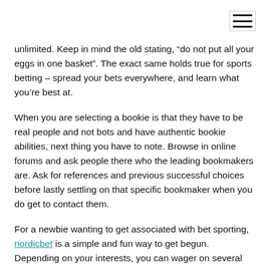unlimited. Keep in mind the old stating, “do not put all your eggs in one basket”. The exact same holds true for sports betting – spread your bets everywhere, and learn what you’re best at.
When you are selecting a bookie is that they have to be real people and not bots and have authentic bookie abilities, next thing you have to note. Browse in online forums and ask people there who the leading bookmakers are. Ask for references and previous successful choices before lastly settling on that specific bookmaker when you do get to contact them.
For a newbie wanting to get associated with bet sporting, nordicbet is a simple and fun way to get begun. Depending on your interests, you can wager on several sporting occasions. From college selects to NFL forecasts, online bet sporting can